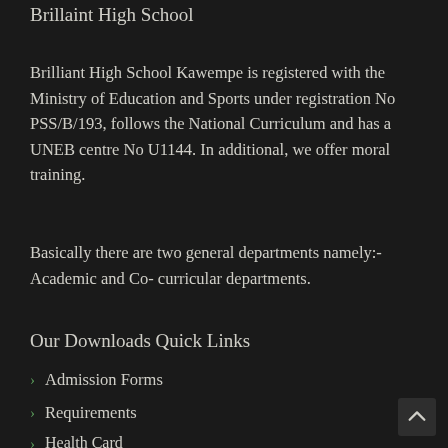Brillaint High School
Brilliant High School Kawempe is registered with the Ministry of Education and Sports under registration No PSS/B/193, follows the National Curriculum and has a UNEB centre No U1144. In additional, we offer moral training.
Basically there are two general departments namely:-  Academic and Co- curricular departments.
Our Downloads Quick Links
Admission Forms
Requirements
Health Card